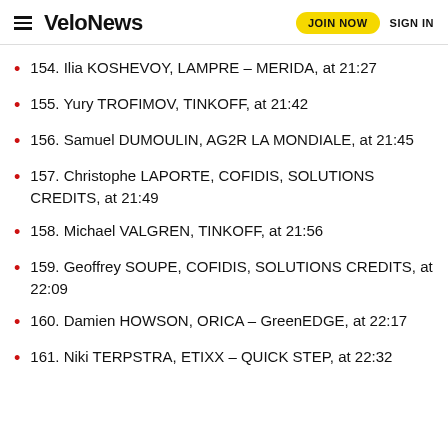VeloNews — JOIN NOW   SIGN IN
154. Ilia KOSHEVOY, LAMPRE – MERIDA, at 21:27
155. Yury TROFIMOV, TINKOFF, at 21:42
156. Samuel DUMOULIN, AG2R LA MONDIALE, at 21:45
157. Christophe LAPORTE, COFIDIS, SOLUTIONS CREDITS, at 21:49
158. Michael VALGREN, TINKOFF, at 21:56
159. Geoffrey SOUPE, COFIDIS, SOLUTIONS CREDITS, at 22:09
160. Damien HOWSON, ORICA – GreenEDGE, at 22:17
161. Niki TERPSTRA, ETIXX – QUICK STEP, at 22:32